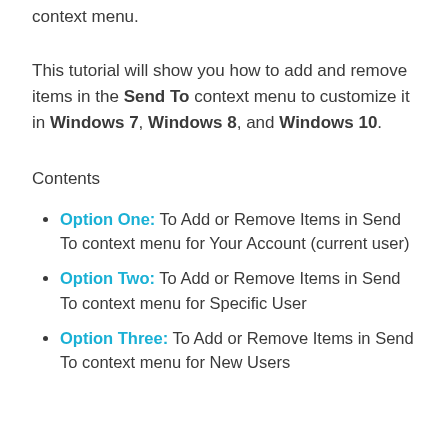context menu.
This tutorial will show you how to add and remove items in the Send To context menu to customize it in Windows 7, Windows 8, and Windows 10.
Contents
Option One: To Add or Remove Items in Send To context menu for Your Account (current user)
Option Two: To Add or Remove Items in Send To context menu for Specific User
Option Three: To Add or Remove Items in Send To context menu for New Users